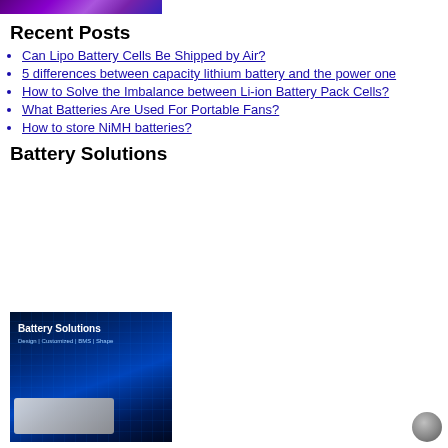[Figure (photo): Top banner image with purple/violet gradient background]
Recent Posts
Can Lipo Battery Cells Be Shipped by Air?
5 differences between capacity lithium battery and the power one
How to Solve the Imbalance between Li-ion Battery Pack Cells?
What Batteries Are Used For Portable Fans?
How to store NiMH batteries?
Battery Solutions
[Figure (photo): Battery Solutions promotional image with blue tech background showing battery packs and text: Battery Solutions, Design | Customized | BMS | Shape]